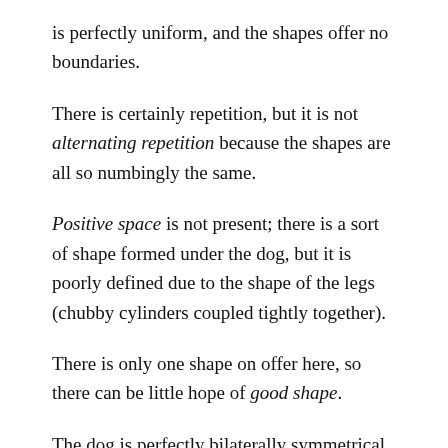is perfectly uniform, and the shapes offer no boundaries.
There is certainly repetition, but it is not alternating repetition because the shapes are all so numbingly the same.
Positive space is not present; there is a sort of shape formed under the dog, but it is poorly defined due to the shape of the legs (chubby cylinders coupled tightly together).
There is only one shape on offer here, so there can be little hope of good shape.
The dog is perfectly bilaterally symmetrical, but